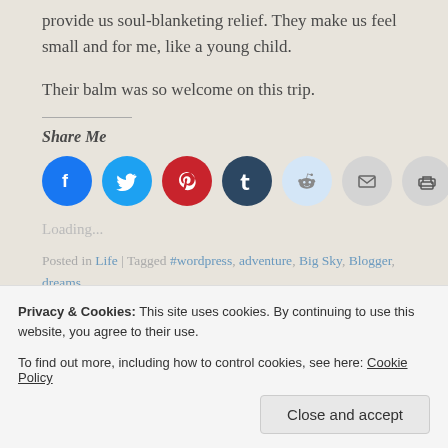provide us soul-blanketing relief. They make us feel small and for me, like a young child.
Their balm was so welcome on this trip.
Share Me
[Figure (infographic): Social sharing icons: Facebook (blue), Twitter (light blue), Pinterest (red), Tumblr (dark navy), Reddit (light blue), Email (gray), Print (gray)]
Loading...
Posted in Life | Tagged #wordpress, adventure, Big Sky, Blogger, dreams, explore, faith, Family, fitness, focus, Friends, friendship, funny, health, hiking,
Privacy & Cookies: This site uses cookies. By continuing to use this website, you agree to their use. To find out more, including how to control cookies, see here: Cookie Policy
Close and accept